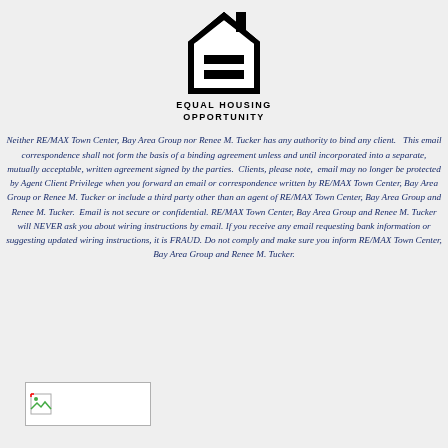[Figure (logo): Equal Housing Opportunity logo: black house outline with equal sign, with text EQUAL HOUSING OPPORTUNITY below]
Neither RE/MAX Town Center, Bay Area Group nor Renee M. Tucker has any authority to bind any client.   This email correspondence shall not form the basis of a binding agreement unless and until incorporated into a separate, mutually acceptable, written agreement signed by the parties.  Clients, please note,  email may no longer be protected by Agent Client Privilege when you forward an email or correspondence written by RE/MAX Town Center, Bay Area Group or Renee M. Tucker or include a third party other than an agent of RE/MAX Town Center, Bay Area Group and Renee M. Tucker.  Email is not secure or confidential. RE/MAX Town Center, Bay Area Group and Renee M. Tucker will NEVER ask you about wiring instructions by email. If you receive any email requesting bank information or suggesting updated wiring instructions, it is FRAUD. Do not comply and make sure you inform RE/MAX Town Center, Bay Area Group and Renee M. Tucker.
[Figure (photo): Small broken/loading image placeholder in bottom left]